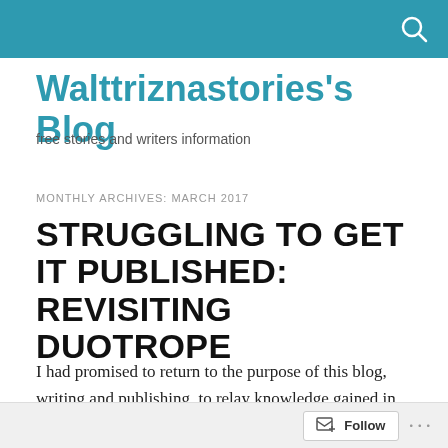Walttriznastories's Blog
free stories and writers information
MONTHLY ARCHIVES: MARCH 2017
STRUGGLING TO GET IT PUBLISHED: REVISITING DUOTROPE
I had promised to return to the purpose of this blog, writing and publishing, to relay knowledge gained in having my work published, and on more occasions that I like to recall, rejected
Follow